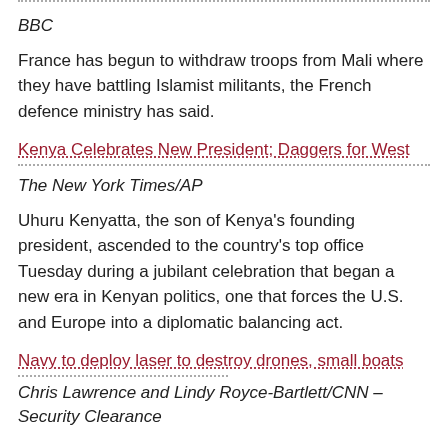...
BBC
France has begun to withdraw troops from Mali where they have battling Islamist militants, the French defence ministry has said.
Kenya Celebrates New President; Daggers for West
The New York Times/AP
Uhuru Kenyatta, the son of Kenya's founding president, ascended to the country's top office Tuesday during a jubilant celebration that began a new era in Kenyan politics, one that forces the U.S. and Europe into a diplomatic balancing act.
Navy to deploy laser to destroy drones, small boats
Chris Lawrence and Lindy Royce-Bartlett/CNN – Security Clearance